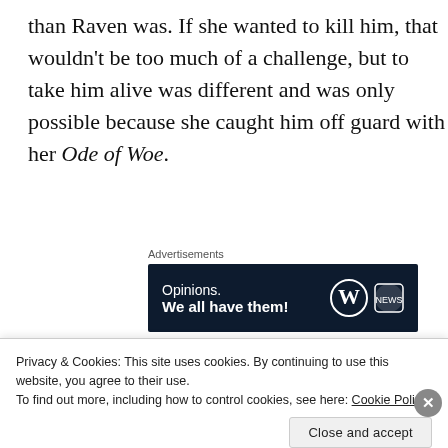than Raven was. If she wanted to kill him, that wouldn't be too much of a challenge, but to take him alive was different and was only possible because she caught him off guard with her Ode of Woe.
Advertisements
[Figure (other): Advertisement banner with dark navy background. Text reads: 'Opinions. We all have them!' with WordPress and forum logos on the right.]
Raven urged her spirit connections to quickly
Privacy & Cookies: This site uses cookies. By continuing to use this website, you agree to their use.
To find out more, including how to control cookies, see here: Cookie Policy
Close and accept